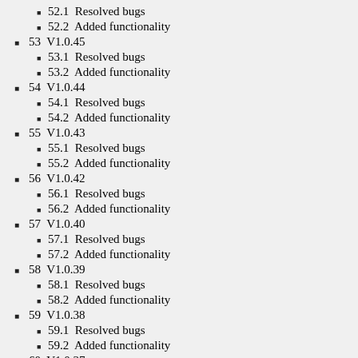52.1  Resolved bugs
52.2  Added functionality
53  V1.0.45
53.1  Resolved bugs
53.2  Added functionality
54  V1.0.44
54.1  Resolved bugs
54.2  Added functionality
55  V1.0.43
55.1  Resolved bugs
55.2  Added functionality
56  V1.0.42
56.1  Resolved bugs
56.2  Added functionality
57  V1.0.40
57.1  Resolved bugs
57.2  Added functionality
58  V1.0.39
58.1  Resolved bugs
58.2  Added functionality
59  V1.0.38
59.1  Resolved bugs
59.2  Added functionality
60  V1.0.37
60.1  Resolved bugs